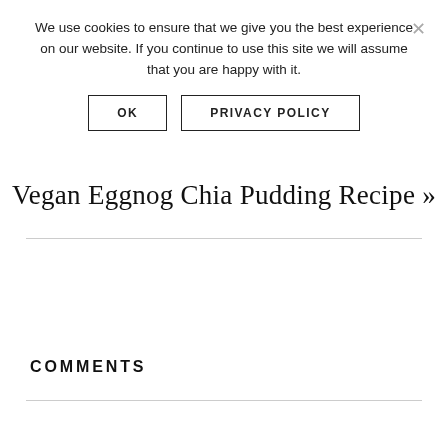We use cookies to ensure that we give you the best experience on our website. If you continue to use this site we will assume that you are happy with it.
OK | PRIVACY POLICY
Vegan Eggnog Chia Pudding Recipe »
COMMENTS